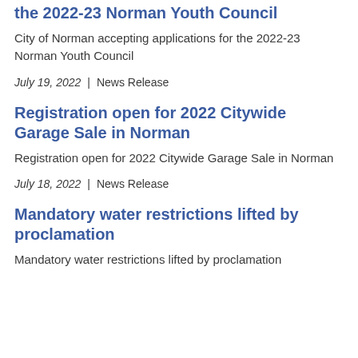the 2022-23 Norman Youth Council
City of Norman accepting applications for the 2022-23 Norman Youth Council
July 19, 2022  |  News Release
Registration open for 2022 Citywide Garage Sale in Norman
Registration open for 2022 Citywide Garage Sale in Norman
July 18, 2022  |  News Release
Mandatory water restrictions lifted by proclamation
Mandatory water restrictions lifted by proclamation